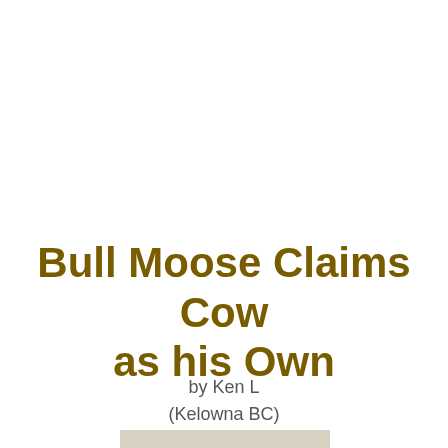Bull Moose Claims Cow as his Own
by Ken L
(Kelowna BC)
[Figure (photo): Outdoor landscape photograph showing a field or road with dry grass and open terrain, taken in Kelowna BC area, partially visible at the bottom of the page.]